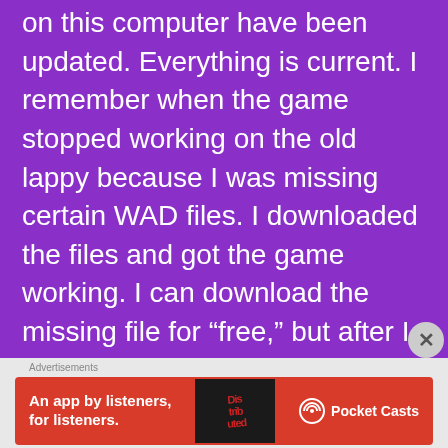on this computer have been updated. Everything is current. I remember when the game stopped working on the old lappy because I was missing certain WAD files. I downloaded the files and got the game working. I can download the missing file for “free,” but after I download the software, surprise, I have to pay if I want the missing file, which ANNOYS me to no end. So it looks like if I want my game to work, I must
[Figure (other): Advertisement banner for Pocket Casts app: red background with text 'An app by listeners, for listeners.' on the left, a smartphone showing 'Distributed' text in center, and Pocket Casts logo on the right.]